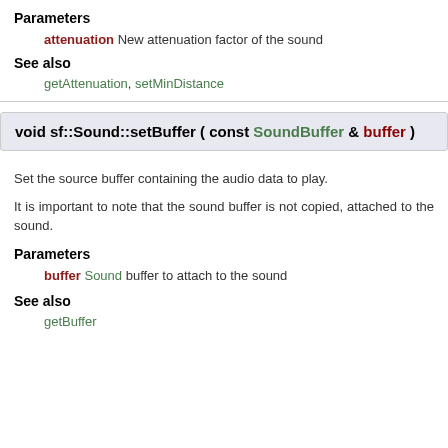Parameters
attenuation New attenuation factor of the sound
See also
getAttenuation, setMinDistance
void sf::Sound::setBuffer ( const SoundBuffer & buffer )
Set the source buffer containing the audio data to play.
It is important to note that the sound buffer is not copied, attached to the sound.
Parameters
buffer Sound buffer to attach to the sound
See also
getBuffer